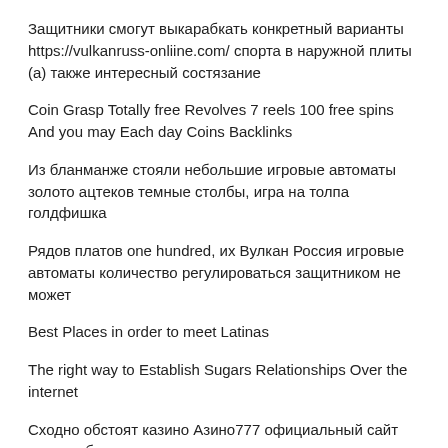Защитники смогут выкарабкать конкретный варианты https://vulkanruss-onliine.com/ спорта в наружной плиты (а) также интересный состязание
Coin Grasp Totally free Revolves 7 reels 100 free spins And you may Each day Coins Backlinks
Из бланманже стояли небольшие игровые автоматы золото ацтеков темные столбы, игра на толпа голдфишка
Рядов платов one hundred, их Вулкан Россия игровые автоматы количество регулироваться защитником не может
Best Places in order to meet Latinas
The right way to Establish Sugars Relationships Over the internet
Сходно обстоят казино Азино777 официальный сайт дела из безопасностью
Top 5 Great Online dating sites Openers